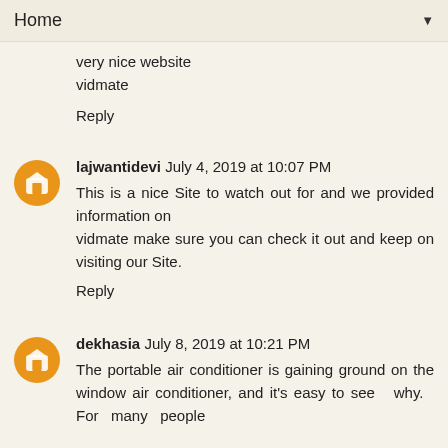Home
very nice website
vidmate
Reply
lajwantidevi July 4, 2019 at 10:07 PM
This is a nice Site to watch out for and we provided information on vidmate make sure you can check it out and keep on visiting our Site.
Reply
dekhasia July 8, 2019 at 10:21 PM
The portable air conditioner is gaining ground on the window air conditioner, and it's easy to see why. For many people